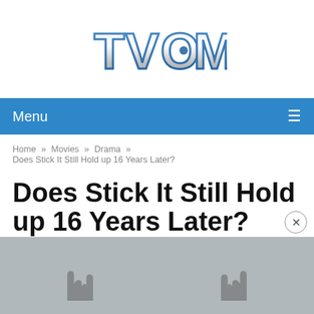[Figure (logo): TVOM website logo with metallic 3D letters]
Menu ≡
Home » Movies » Drama » Does Stick It Still Hold up 16 Years Later?
Does Stick It Still Hold up 16 Years Later?
[Figure (photo): Dark/gray background photo showing two hands making rock horns gestures]